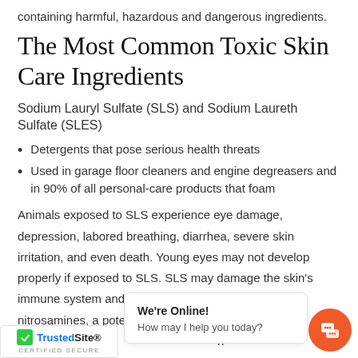containing harmful, hazardous and dangerous ingredients.
The Most Common Toxic Skin Care Ingredients
Sodium Lauryl Sulfate (SLS) and Sodium Laureth Sulfate (SLES)
Detergents that pose serious health threats
Used in garage floor cleaners and engine degreasers and in 90% of all personal-care products that foam
Animals exposed to SLS experience eye damage, depression, labored breathing, diarrhea, severe skin irritation, and even death. Young eyes may not develop properly if exposed to SLS. SLS may damage the skin's immune system and can be transformed into nitrosamines, a pote... an remain... fo... n